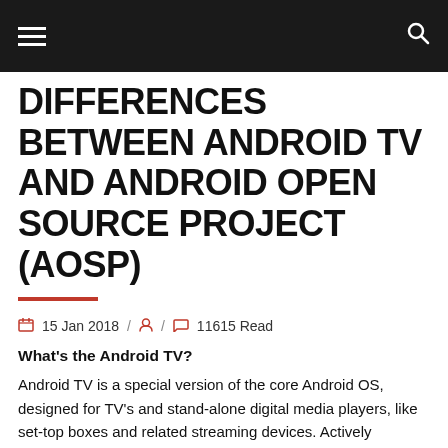[hamburger menu] [search icon]
DIFFERENCES BETWEEN ANDROID TV AND ANDROID OPEN SOURCE PROJECT (AOSP)
15 Jan 2018 / [author icon] / [comment icon] 11615 Read
What’s the Android TV?
Android TV is a special version of the core Android OS,  designed for TV’s and stand-alone digital media players, like set-top boxes and related streaming devices. Actively supported by Google that gives all devices some of the same features: cast support, the normal launcher, and voice search. With the Google Play Store, users can find apps and